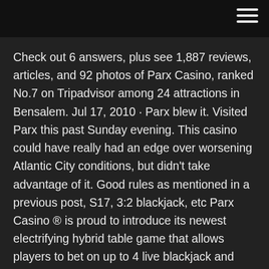Check out 6 answers, plus see 1,887 reviews, articles, and 92 photos of Parx Casino, ranked No.7 on Tripadvisor among 24 attractions in Bensalem. Jul 17, 2010 · Parx blew it. Visited Parx this past Sunday evening. This casino could have really had an edge over worsening Atlantic City conditions, but didn't take advantage of it. Good rules as mentioned in a previous post, S17, 3:2 blackjack, etc Parx Casino ® is proud to introduce its newest electrifying hybrid table game that allows players to bet on up to 4 live blackjack and roulette games - all at the same time from 24 available private terminals! Look for it in our table games area located in the center of the casino floor, table minimums starting at $5! View Our Property Map